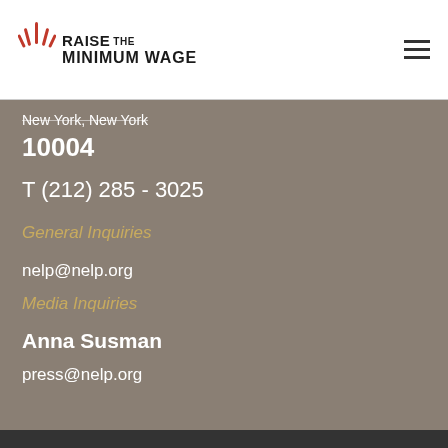RAISE the MINIMUM WAGE
New York, New York
10004
T (212) 285 - 3025
General Inquiries
nelp@nelp.org
Media Inquiries
Anna Susman
press@nelp.org